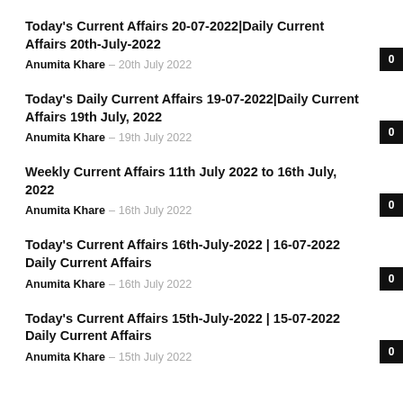Today's Current Affairs 20-07-2022|Daily Current Affairs 20th-July-2022
Anumita Khare – 20th July 2022
0
Today's Daily Current Affairs 19-07-2022|Daily Current Affairs 19th July, 2022
Anumita Khare – 19th July 2022
0
Weekly Current Affairs 11th July 2022 to 16th July, 2022
Anumita Khare – 16th July 2022
0
Today's Current Affairs 16th-July-2022 | 16-07-2022 Daily Current Affairs
Anumita Khare – 16th July 2022
0
Today's Current Affairs 15th-July-2022 | 15-07-2022 Daily Current Affairs
Anumita Khare – 15th July 2022
0